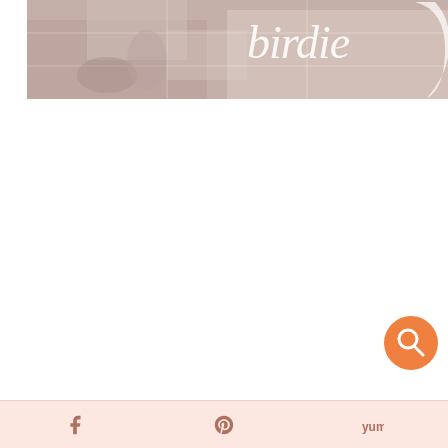[Figure (photo): Banner/header image for a blog or website called 'birdie' with a cursive/script logo in white text overlaid on a blurred outdoor/restaurant scene background. A decorative bird silhouette swash accompanies the text.]
[Figure (other): Orange circular search button with magnifying glass icon, positioned in the lower right area of the page]
[Figure (other): Social sharing footer bar with Facebook, Pinterest, and another social sharing icon (yummly/share) on a light peach/pink background]